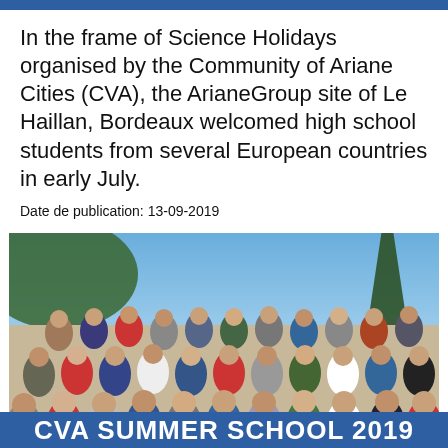In the frame of Science Holidays organised by the Community of Ariane Cities (CVA), the ArianeGroup site of Le Haillan, Bordeaux welcomed high school students from several European countries in early July.
Date de publication: 13-09-2019
[Figure (photo): Group photo of high school students from several European countries outdoors, with trees and stone steps in the background, taken during CVA Summer School 2019.]
CVA SUMMER SCHOOL 2019